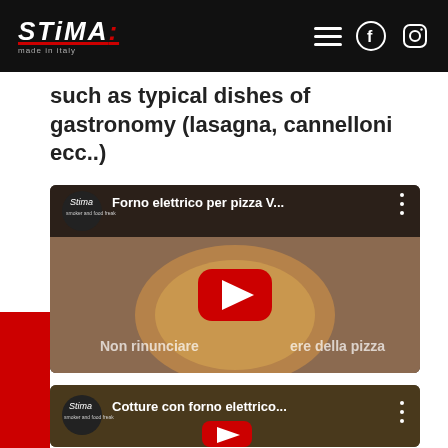STIMA made in Italy
such as typical dishes of gastronomy (lasagna, cannelloni ecc..)
[Figure (screenshot): YouTube video thumbnail for 'Forno elettrico per pizza V...' showing a pizza with text 'Non rinunciare al piacere della pizza']
[Figure (screenshot): YouTube video thumbnail for 'Cotture con forno elettrico...' showing a baking dish with food]